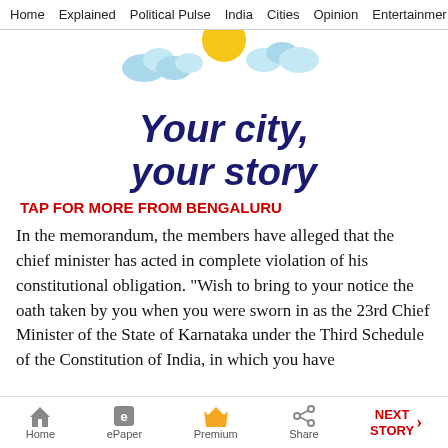Home  Explained  Political Pulse  India  Cities  Opinion  Entertainment
[Figure (illustration): Decorative illustration showing a sun with rays and clouds, part of a city news feature graphic]
Your city, your story
TAP FOR MORE FROM BENGALURU
In the memorandum, the members have alleged that the chief minister has acted in complete violation of his constitutional obligation. "Wish to bring to your notice the oath taken by you when you were sworn in as the 23rd Chief Minister of the State of Karnataka under the Third Schedule of the Constitution of India, in which you have
Home  ePaper  Premium  Share  NEXT STORY